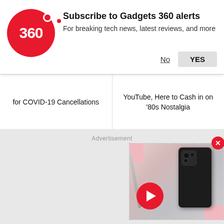[Figure (screenshot): Gadgets 360 subscription notification banner with red circular logo showing '360', subscribe text, No and YES buttons]
for COVID-19 Cancellations
YouTube, Here to Cash in on '80s Nostalgia
Advertisement
[Figure (screenshot): Video thumbnail showing a dark smartphone with camera module and a red play button, with pink decorative elements in background, and a red close button]